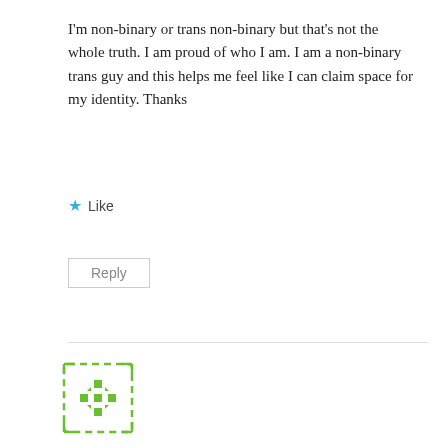I'm non-binary or trans non-binary but that's not the whole truth. I am proud of who I am. I am a non-binary trans guy and this helps me feel like I can claim space for my identity. Thanks
★ Like
Reply
[Figure (illustration): Green robot/avatar icon with dashed border outline]
Jay
January 15, 2020 at 2:20 am
Thank you so much!! I really appreciate this. I was really struggling for several years whether I was non-binary or